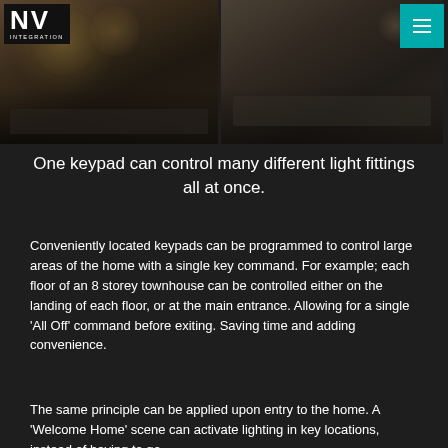NV INTEGRATION
[Figure (photo): Two interior room photos side by side: left shows a luxury living room with circular ceiling lights and dark decor; right shows a luxury bedroom with elegant furnishings and chandelier]
One keypad can control many different light fittings all at once.
Conveniently located keypads can be programmed to control large areas of the home with a single key command. For example; each floor of an 8 storey townhouse can be controlled either on the landing of each floor, or at the main entrance. Allowing for a single 'All Off' command before exiting. Saving time and adding convenience.
The same principle can be applied upon entry to the home. A 'Welcome Home' scene can activate lighting in key locations, instead of having to go...